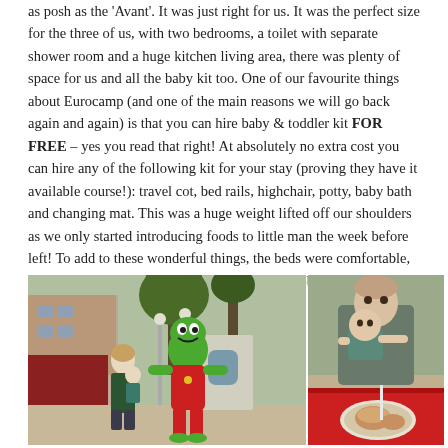as posh as the 'Avant'. It was just right for us. It was the perfect size for the three of us, with two bedrooms, a toilet with separate shower room and a huge kitchen living area, there was plenty of space for us and all the baby kit too. One of our favourite things about Eurocamp (and one of the main reasons we will go back again and again) is that you can hire baby & toddler kit FOR FREE – yes you read that right! At absolutely no extra cost you can hire any of the following kit for your stay (proving they have it available course!): travel cot, bed rails, highchair, potty, baby bath and changing mat. This was a huge weight lifted off our shoulders as we only started introducing foods to little man the week before left! To add to these wonderful things, the beds were comfortable, the kitchen well stocked complete with 4 gas hobs and oven – we wanted for nothing.
[Figure (photo): Left photo: A woman holding a baby, standing next to a large green cartoon dinosaur mascot in a red outfit, outdoors at what appears to be a campsite with buildings and trees in the background.]
[Figure (photo): Right photo: A man holding a baby who is leaning forward toward a plate of food on a red-covered table, with a straw or stick in the food.]